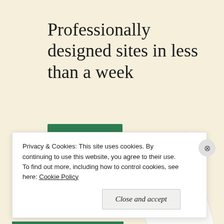Professionally designed sites in less than a week
Explore options
[Figure (screenshot): A tilted phone or tablet mockup showing a website design with green accent, food/product images, and text content]
Privacy & Cookies: This site uses cookies. By continuing to use this website, you agree to their use.
To find out more, including how to control cookies, see here: Cookie Policy
Close and accept